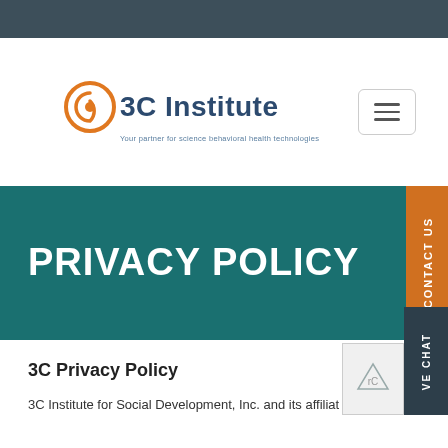[Figure (logo): 3C Institute logo with orange circular icon and blue text, tagline: Your partner for science behavioral health technologies]
PRIVACY POLICY
3C Privacy Policy
3C Institute for Social Development, Inc. and its affiliat